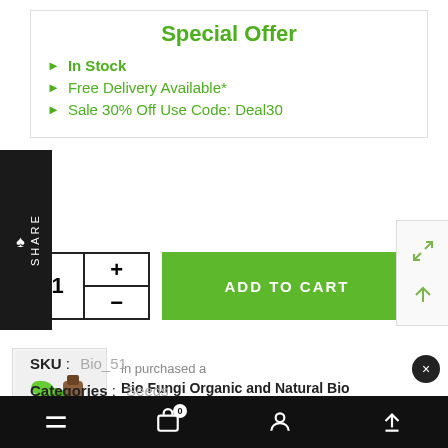Special Offer
In Stock
Free Delivery Available*
Sale 30% Off Use Code: Deal30
1  +  -  ADD TO CART
in purchased a
Bio Fungi Organic and Natural Bio Pesticide
About 41 minutes ago
SKU : Bio_51
Categories : Seeds
Navigation bar with menu, cart (0), profile, share icons